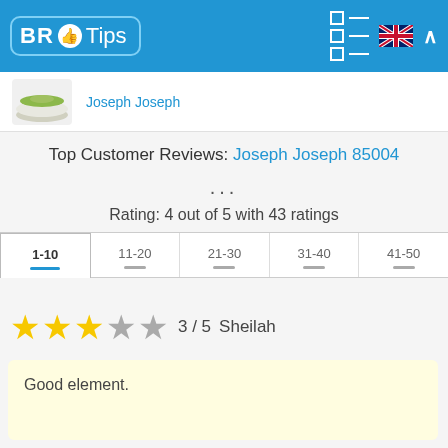BR Tips
[Figure (screenshot): Product image of Joseph Joseph kitchen item (small round dish/bowl with green lid)]
Joseph Joseph
Top Customer Reviews: Joseph Joseph 85004 ...
Rating: 4 out of 5 with 43 ratings
1-10  11-20  21-30  31-40  41-50
3 / 5  Sheilah
Good element.